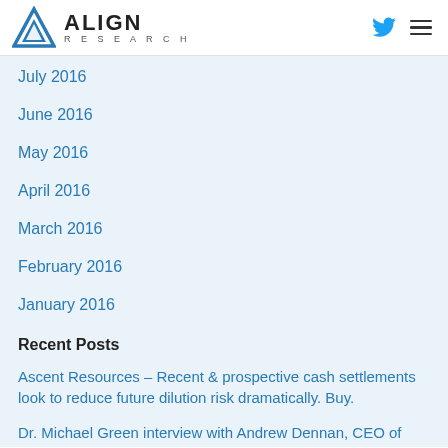ALIGN RESEARCH
July 2016
June 2016
May 2016
April 2016
March 2016
February 2016
January 2016
Recent Posts
Ascent Resources – Recent & prospective cash settlements look to reduce future dilution risk dramatically. Buy.
Dr. Michael Green interview with Andrew Dennan, CEO of Ascent Resources